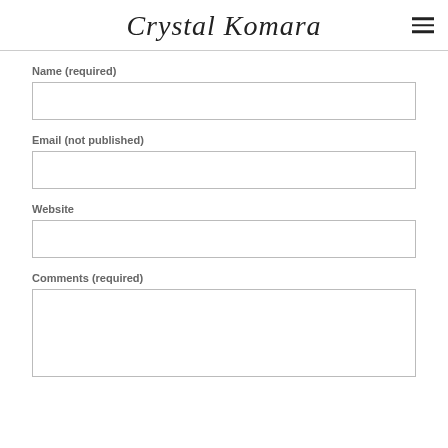Crystal Komara
Name (required)
Email (not published)
Website
Comments (required)